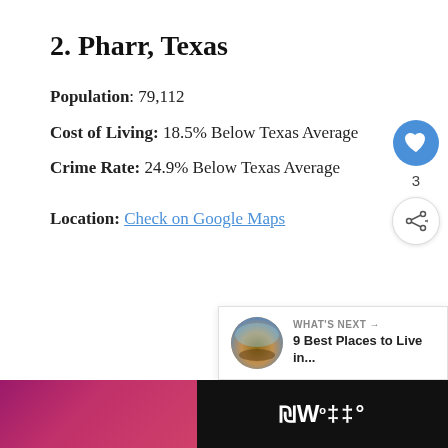2. Pharr, Texas
Population: 79,112
Cost of Living: 18.5% Below Texas Average
Crime Rate: 24.9% Below Texas Average
Location: Check on Google Maps
[Figure (screenshot): Social action buttons: blue heart/like button, count of 3, and a share button]
[Figure (screenshot): What's Next panel showing a thumbnail image of a landscape and text '9 Best Places to Live in...']
[Figure (screenshot): Bottom navigation bar with pink/magenta gradient section and dark section with 'W°' logo]